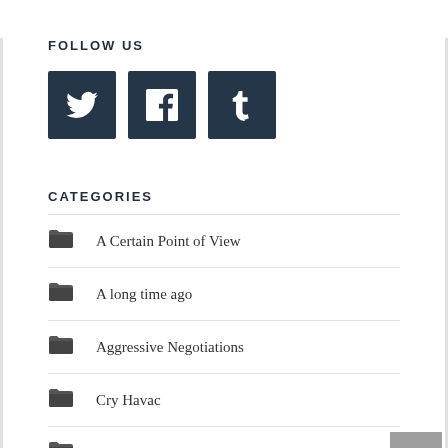FOLLOW US
[Figure (infographic): Three social media icon buttons: Twitter (bird icon), Facebook (f icon), Tumblr (t icon), all dark navy square buttons]
CATEGORIES
A Certain Point of View
A long time ago
Aggressive Negotiations
Cry Havac
DilDev's Diner
Feature Articles